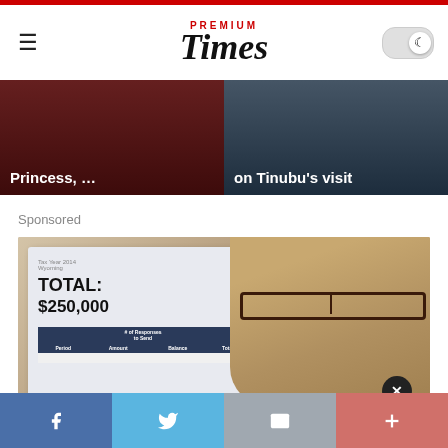PREMIUM Times
[Figure (photo): News card: Princess, ... (left card with dark red background)]
[Figure (photo): News card: on Tinubu's visit (right card with dark blue background)]
Sponsored
[Figure (photo): Sponsored advertisement image: woman with glasses holding a notebook showing TOTAL: $250,000 with a financial table below]
Facebook | Twitter | Email | More (share bar)